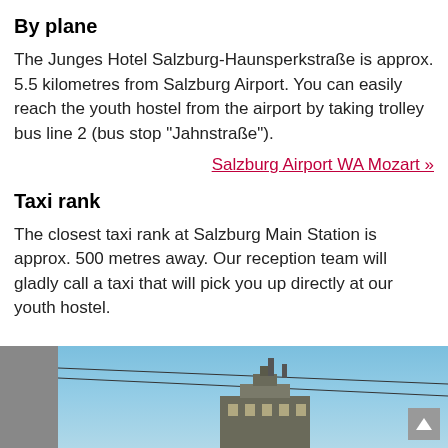By plane
The Junges Hotel Salzburg-Haunsperkstraße is approx. 5.5 kilometres from Salzburg Airport. You can easily reach the youth hostel from the airport by taking trolley bus line 2 (bus stop "Jahnstraße").
Salzburg Airport WA Mozart »
Taxi rank
The closest taxi rank at Salzburg Main Station is approx. 500 metres away. Our reception team will gladly call a taxi that will pick you up directly at our youth hostel.
[Figure (photo): Exterior photo of a building against a blue sky with wires in the foreground]